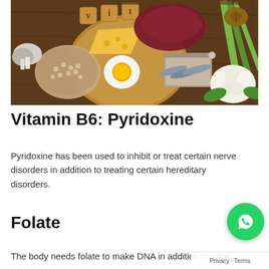[Figure (photo): Overhead photo of vitamin-rich foods on a wooden board: cheese wedge, raw liver/meat, egg, sardines in a tin, mushrooms, soya beans in a burlap sack, cauliflower, spring onions/leeks, walnut, and wooden blocks spelling 'vit'. Dark wooden table background.]
Vitamin B6: Pyridoxine
Pyridoxine has been used to inhibit or treat certain nerve disorders in addition to treating certain hereditary disorders.
Folate
The body needs folate to make DNA in addition to other